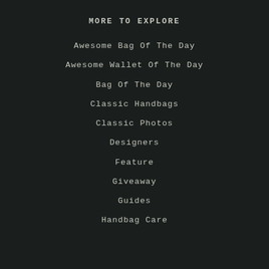MORE TO EXPLORE
Awesome Bag Of The Day
Awesome Wallet Of The Day
Bag Of The Day
Classic Handbags
Classic Photos
Designers
Feature
Giveaway
Guides
Handbag Care